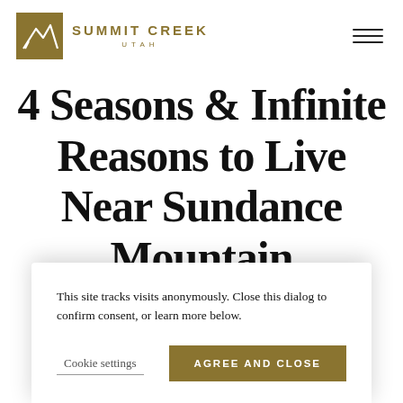[Figure (logo): Summit Creek Utah logo with golden mountain icon and text]
4 Seasons & Infinite Reasons to Live Near Sundance Mountain Resort
This site tracks visits anonymously. Close this dialog to confirm consent, or learn more below.
Cookie settings
AGREE AND CLOSE